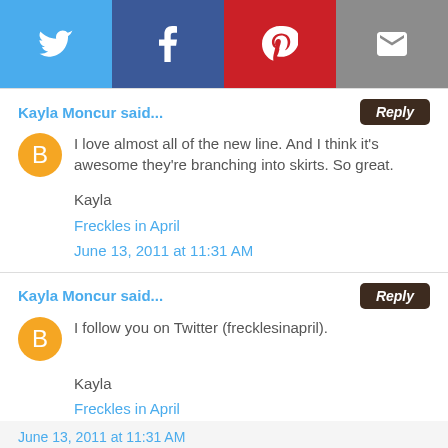[Figure (infographic): Social sharing buttons: Twitter (blue), Facebook (dark blue), Pinterest (red), Email (gray)]
Kayla Moncur said...
Reply
I love almost all of the new line. And I think it's awesome they're branching into skirts. So great.
Kayla
Freckles in April
June 13, 2011 at 11:31 AM
Kayla Moncur said...
Reply
I follow you on Twitter (frecklesinapril).
Kayla
Freckles in April
June 13, 2011 at 11:31 AM